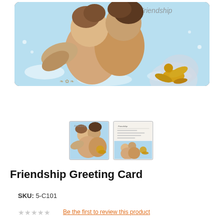[Figure (photo): A greeting card featuring two cherub angels kissing/embracing on a light blue background, with a gold angel medallion on the right side. Labeled 'Friendship' at the top.]
[Figure (photo): Two thumbnail images: first shows the front of the Friendship Greeting Card with angels, second shows front and back of the card.]
Friendship Greeting Card
SKU: 5-C101
Be the first to review this product